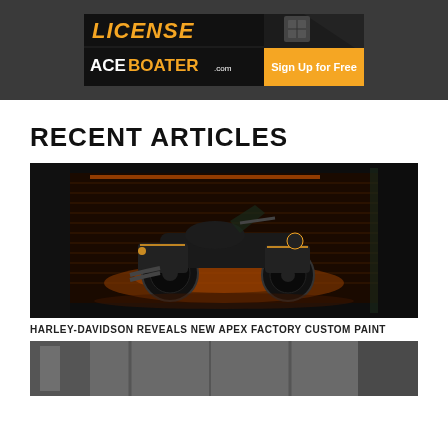[Figure (screenshot): ACEBOATER.COM advertisement banner with orange text 'LICENSE' on dark background, white ACEBOATER.com logo on left and orange 'Sign Up for Free' button on right]
RECENT ARTICLES
[Figure (photo): Dark moody photo of a Harley-Davidson motorcycle (touring/Ultra Limited style) with orange accent lighting, parked in front of a dark garage door with orange ambient light]
HARLEY-DAVIDSON REVEALS NEW APEX FACTORY CUSTOM PAINT
[Figure (photo): Partial view of another motorcycle article image, showing industrial/workshop setting]